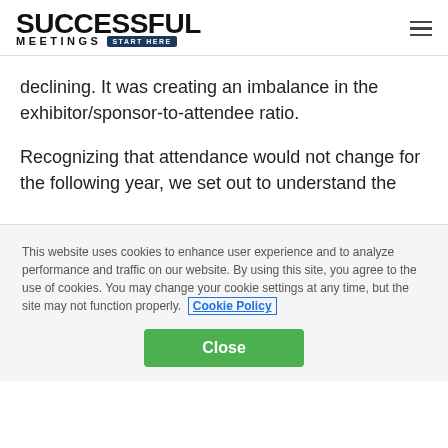[Figure (logo): Successful Meetings logo with 'START HERE' tagline and hamburger menu icon]
declining. It was creating an imbalance in the exhibitor/sponsor-to-attendee ratio.
Recognizing that attendance would not change for the following year, we set out to understand the
This website uses cookies to enhance user experience and to analyze performance and traffic on our website. By using this site, you agree to the use of cookies. You may change your cookie settings at any time, but the site may not function properly. Cookie Policy
Close